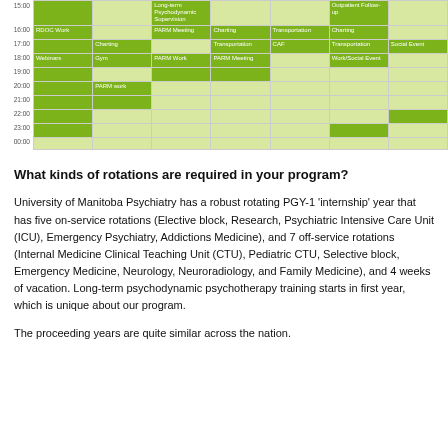[Figure (table-as-image): Weekly schedule grid showing times from 15:00 to 00:00 with colored blocks for activities like Long-term Psychodynamic Supervision, PARM Meeting, Charting, Transportation, CAF, Outpatient Follow-up, Social Event, Webinars, Gym, PARM Work, PARM Meeting, Work/Social Event, PARM Work]
What kinds of rotations are required in your program?
University of Manitoba Psychiatry has a robust rotating PGY-1 'internship' year that has five on-service rotations (Elective block, Research, Psychiatric Intensive Care Unit (ICU), Emergency Psychiatry, Addictions Medicine), and 7 off-service rotations (Internal Medicine Clinical Teaching Unit (CTU), Pediatric CTU, Selective block, Emergency Medicine, Neurology, Neuroradiology, and Family Medicine), and 4 weeks of vacation. Long-term psychodynamic psychotherapy training starts in first year, which is unique about our program.
The proceeding years are quite similar across the nation.